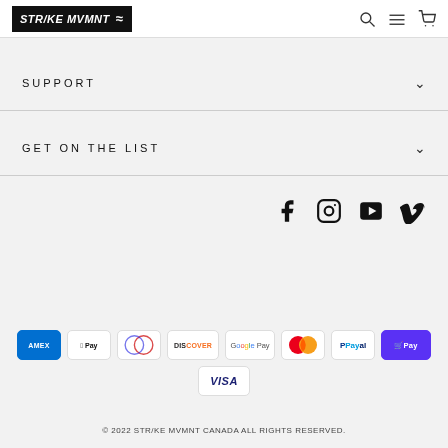STR/KE MVMNT
SUPPORT
GET ON THE LIST
[Figure (infographic): Social media icons: Facebook, Instagram, YouTube, Vimeo]
[Figure (infographic): Payment method icons: American Express, Apple Pay, Diners Club, Discover, Google Pay, Mastercard, PayPal, Shop Pay, Visa]
© 2022 STR/KE MVMNT CANADA ALL RIGHTS RESERVED.